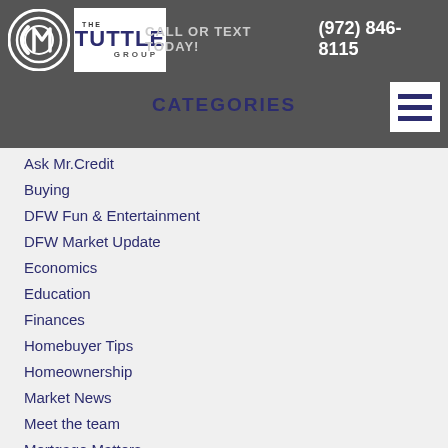CALL OR TEXT TODAY! (972) 846-8115
[Figure (logo): CM Tuttle Group logo with circular CM icon and white box containing THE TUTTLE GROUP text]
CATEGORIES
Ask Mr.Credit
Buying
DFW Fun & Entertainment
DFW Market Update
Economics
Education
Finances
Homebuyer Tips
Homeownership
Market News
Meet the team
Mortgage Matters
Real Time Real Estate
Realtor Coffee Talk
The Tuttle Group